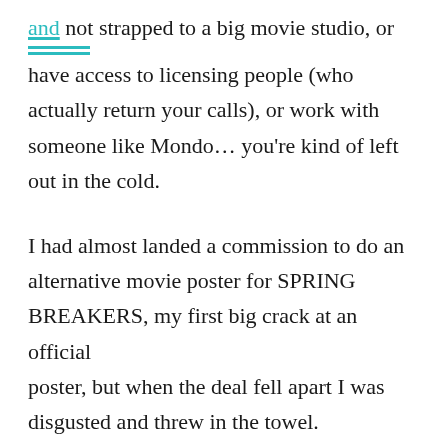and not strapped to a big movie studio, or have access to licensing people (who actually return your calls), or work with someone like Mondo… you're kind of left out in the cold.
I had almost landed a commission to do an alternative movie poster for SPRING BREAKERS, my first big crack at an official poster, but when the deal fell apart I was disgusted and threw in the towel. Hollywood is a big weirdo.